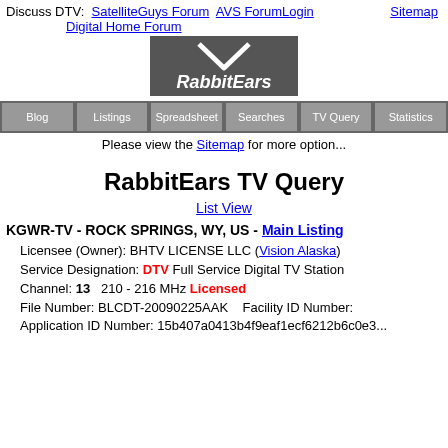Discuss DTV:  SatelliteGuys Forum  AVS Forum Login  Digital Home Forum  Sitemap
[Figure (logo): RabbitEars logo with white checkmark on dark grey background and white italic text 'RabbitEars']
Blog  Listings  Spreadsheet  Searches  TV Query  Statistics
Please view the Sitemap for more options
RabbitEars TV Query
List View
KGWR-TV - ROCK SPRINGS, WY, US - Main Listing
Licensee (Owner): BHTV LICENSE LLC (Vision Alaska)
Service Designation: DTV Full Service Digital TV Station
Channel: 13   210 - 216 MHz Licensed
File Number: BLCDT-20090225AAK    Facility ID Number:
Application ID Number: 15b407a0413b4f9eaf1ecf6212b6c0e3